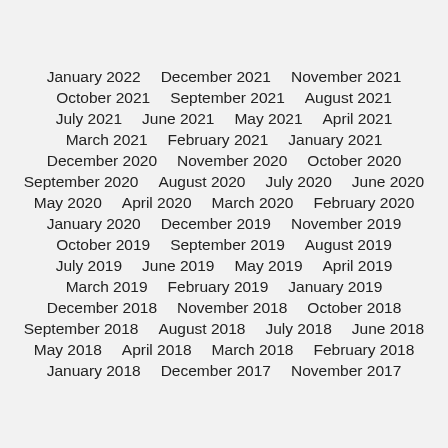January 2022    December 2021    November 2021
October 2021    September 2021    August 2021
July 2021    June 2021    May 2021    April 2021
March 2021    February 2021    January 2021
December 2020    November 2020    October 2020
September 2020    August 2020    July 2020    June 2020
May 2020    April 2020    March 2020    February 2020
January 2020    December 2019    November 2019
October 2019    September 2019    August 2019
July 2019    June 2019    May 2019    April 2019
March 2019    February 2019    January 2019
December 2018    November 2018    October 2018
September 2018    August 2018    July 2018    June 2018
May 2018    April 2018    March 2018    February 2018
January 2018    December 2017    November 2017